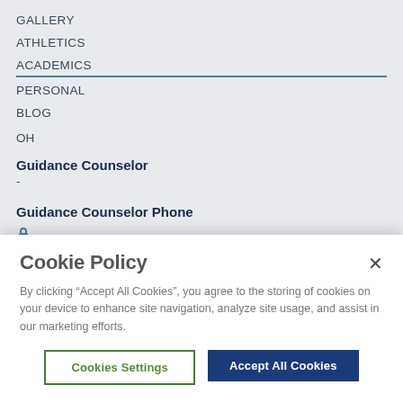GALLERY
ATHLETICS
ACADEMICS
PERSONAL
BLOG
OH
Guidance Counselor
-
Guidance Counselor Phone
Cookie Policy
By clicking “Accept All Cookies”, you agree to the storing of cookies on your device to enhance site navigation, analyze site usage, and assist in our marketing efforts.
Cookies Settings
Accept All Cookies